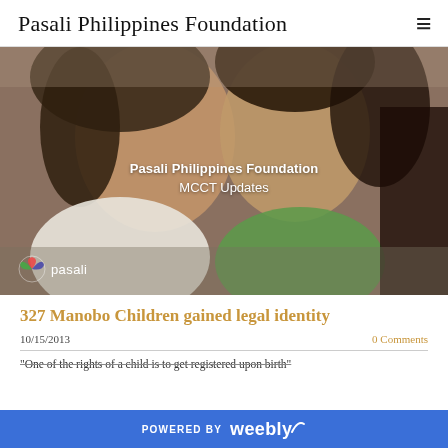Pasali Philippines Foundation
[Figure (photo): Close-up photo of two Filipino children cheek to cheek, smiling, with overlaid text reading 'Pasali Philippines Foundation MCCT Updates' and Pasali logo at bottom left]
327 Manobo Children gained legal identity
10/15/2013    0 Comments
“One of the rights of a child is to get registered upon birth”